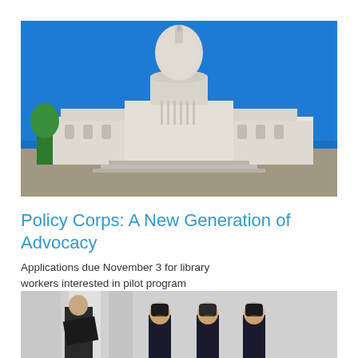[Figure (photo): Photograph of the United States Capitol building against a blue sky, with steps and surrounding grounds visible]
Policy Corps: A New Generation of Advocacy
Applications due November 3 for library workers interested in pilot program
[Figure (photo): Photo of a man in a dark suit speaking with three young women who are looking downward, possibly in a professional or academic setting]